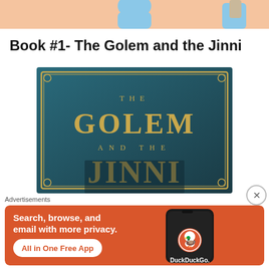[Figure (photo): Top banner with peach/salmon background showing partial image of a person in a light blue shirt]
Book #1- The Golem and the Jinni
[Figure (photo): Book cover of 'The Golem and the Jinni' with teal/dark background and ornate gold lettering showing 'THE GOLEM AND THE JINNI']
Advertisements
[Figure (infographic): DuckDuckGo advertisement banner with orange/red background. Text reads: Search, browse, and email with more privacy. All in One Free App. Shows a phone with DuckDuckGo logo and branding.]